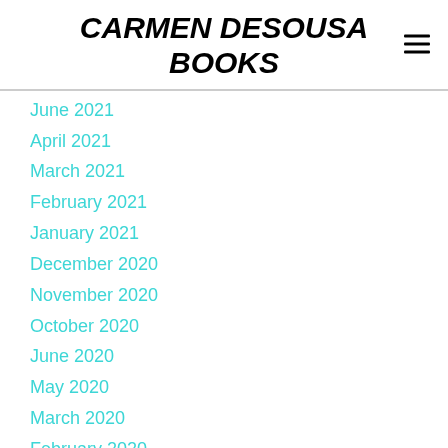CARMEN DESOUSA BOOKS
June 2021
April 2021
March 2021
February 2021
January 2021
December 2020
November 2020
October 2020
June 2020
May 2020
March 2020
February 2020
January 2020
December 2019
November 2019
October 2019